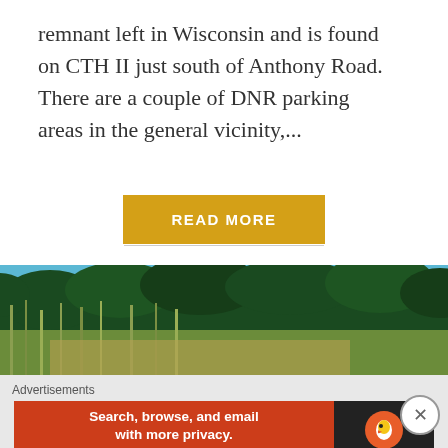remnant left in Wisconsin and is found on CTH II just south of Anthony Road.  There are a couple of DNR parking areas in the general vicinity,...
READ MORE
[Figure (photo): Outdoor nature photograph showing a field of tall green and golden grasses in the foreground with dense dark green trees/forest in the background under a blue sky.]
Advertisements
[Figure (screenshot): DuckDuckGo advertisement banner. Orange/red left section reads 'Search, browse, and email with more privacy. All in One Free App'. Dark right section shows DuckDuckGo duck logo and brand name.]